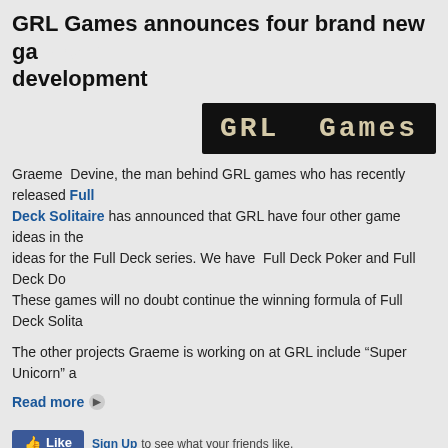GRL Games announces four brand new games in development
[Figure (logo): GRL Games logo: black background with beige/cream monospace text reading 'GRL Games']
Graeme Devine, the man behind GRL games who has recently released Full Deck Solitaire has announced that GRL have four other game ideas in the works, two ideas for the Full Deck series. We have Full Deck Poker and Full Deck Do... These games will no doubt continue the winning formula of Full Deck Solita...
The other projects Graeme is working on at GRL include "Super Unicorn" a...
Read more
[Figure (screenshot): Facebook Like button and Sign Up link with text 'to see what your friends like.']
[Figure (screenshot): Share / Save button]
GRL Games announces Full Deck Poker So...
[Figure (logo): GRL Games logo: black background with beige/cream monospace text reading 'GRL Games']